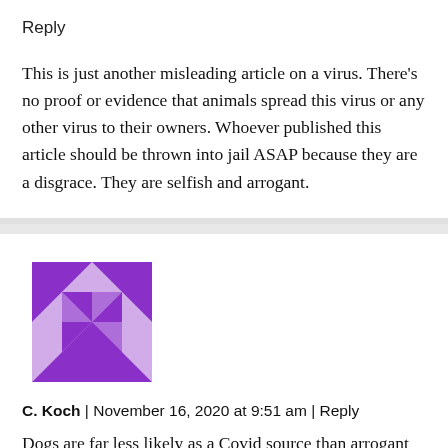Reply
This is just another misleading article on a virus. There’s no proof or evidence that animals spread this virus or any other virus to their owners. Whoever published this article should be thrown into jail ASAP because they are a disgrace. They are selfish and arrogant.
[Figure (illustration): Purple geometric avatar icon made of triangles arranged in a pinwheel/star pattern]
C. Koch | November 16, 2020 at 9:51 am | Reply
Dogs are far less likely as a Covid source than arrogant “scientists” and Democrats.